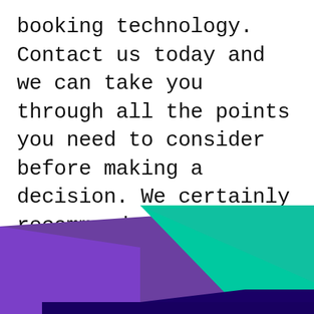booking technology. Contact us today and we can take you through all the points you need to consider before making a decision. We certainly recommend that all online travel sellers out there give this some basic thought, it's not for everyone but shouldn't be ignored outright
[Figure (illustration): Abstract geometric graphic with overlapping triangular/diagonal shapes in purple, teal/green, and dark navy blue, forming a decorative footer banner]